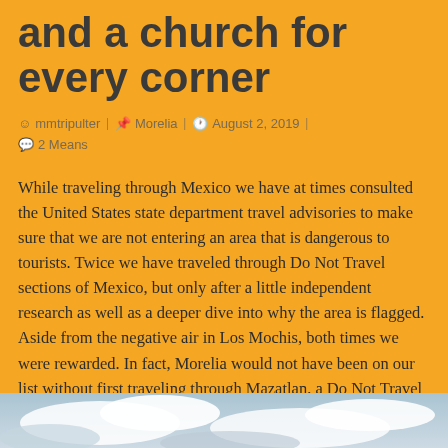and a church for every corner
mmtripulter   Morelia   August 2, 2019   2 Means
While traveling through Mexico we have at times consulted the United States state department travel advisories to make sure that we are not entering an area that is dangerous to tourists. Twice we have traveled through Do Not Travel sections of Mexico, but only after a little independent research as well as a deeper dive into why the area is flagged. Aside from the negative air in Los Mochis, both times we were rewarded. In fact, Morelia would not have been on our list without first traveling through Mazatlan, a Do Not Travel zone, and meeting Ivan.
[Figure (photo): Partial view of a cloudy sky photo at the bottom of the page]